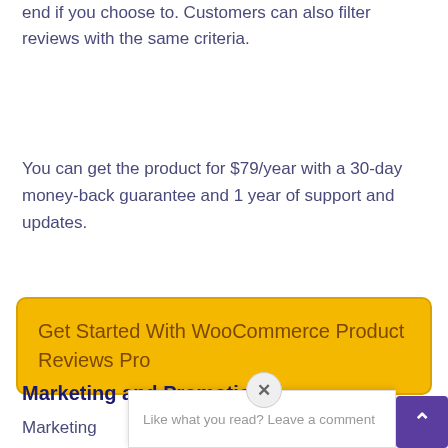end if you choose to. Customers can also filter reviews with the same criteria.
You can get the product for $79/year with a 30-day money-back guarantee and 1 year of support and updates.
Get Started With WooCommerce Product Reviews Pro
Marketing and Promotion
Marketing... st important